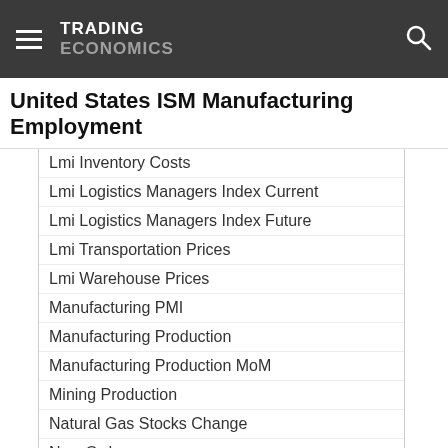TRADING ECONOMICS
United States ISM Manufacturing Employment
Lmi Inventory Costs
Lmi Logistics Managers Index Current
Lmi Logistics Managers Index Future
Lmi Transportation Prices
Lmi Warehouse Prices
Manufacturing PMI
Manufacturing Production
Manufacturing Production MoM
Mining Production
Natural Gas Stocks Change
New Orders
NFIB Business Optimism Index
Non Defense Capital Goods Orders Ex Aircraft
Non Manufacturing PMI
NY Empire State Employment Index
NY Empire State Manufacturing Index
NY Empire State New Orders Index